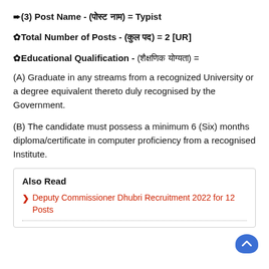➨(3) Post Name - (पोस्ट नाम) = Typist
✿Total Number of Posts - (कुल पद) = 2 [UR]
✿Educational Qualification - (शैक्षणिक योग्यता) =
(A) Graduate in any streams from a recognized University or a degree equivalent thereto duly recognised by the Government.
(B) The candidate must possess a minimum 6 (Six) months diploma/certificate in computer proficiency from a recognised Institute.
Also Read
> Deputy Commissioner Dhubri Recruitment 2022 for 12 Posts